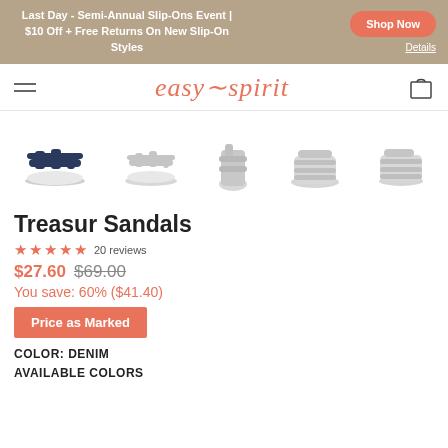Last Day - Semi-Annual Slip-Ons Event | $10 Off + Free Returns On New Slip-On Styles
[Figure (logo): Easy Spirit logo with hamburger menu and shopping bag icon]
[Figure (photo): Five views of Treasur Sandals in denim/navy color: side view, sole view, front view, top view, oblique view]
Treasur Sandals
★★★★★ 20 reviews
$27.60 $69.00
You save: 60% ($41.40)
Price as Marked
COLOR: DENIM
AVAILABLE COLORS